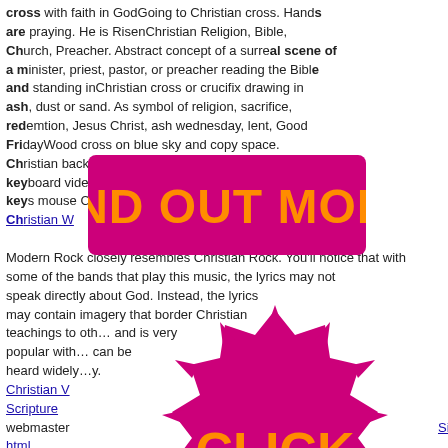cross with faith in GodGoing to Christian cross. Hands are praying. He is RisenChristian Religion, Bible, Church, Preacher. Abstract concept of a surreal scene of a minister, priest, pastor, or preacher reading the Bible and standing inChristian cross or crucifix drawing in ash, dust or sand. As symbol of religion, sacrifice, redemtion, Jesus Christ, ash wednesday, lent, Good FridayWood cross on blue sky and copy space. Christian background, spiritual scene. Christian keyboard video monitor keyboard with keys mouse Church with Christian Words webmaster Sitemap html
[Figure (infographic): Pink/magenta badge with orange text reading FIND OUT MORE overlaid on the page]
[Figure (infographic): Pink/magenta gear-shaped badge with orange text reading CLICK HERE overlaid on the page]